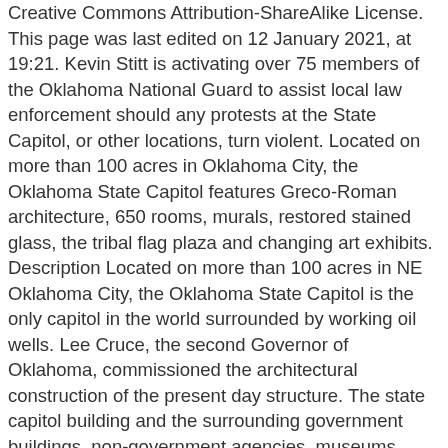Creative Commons Attribution-ShareAlike License. This page was last edited on 12 January 2021, at 19:21. Kevin Stitt is activating over 75 members of the Oklahoma National Guard to assist local law enforcement should any protests at the State Capitol, or other locations, turn violent. Located on more than 100 acres in Oklahoma City, the Oklahoma State Capitol features Greco-Roman architecture, 650 rooms, murals, restored stained glass, the tribal flag plaza and changing art exhibits. Description Located on more than 100 acres in NE Oklahoma City, the Oklahoma State Capitol is the only capitol in the world surrounded by working oil wells. Lee Cruce, the second Governor of Oklahoma, commissioned the architectural construction of the present day structure. The state capitol building and the surrounding government buildings, non-government agencies, museums, libraries, and tree lined streets and boulevards form the Oklahoma State Capitol Complex[15] or Capitol Campus. Please note: Many of the works of the Capitol Art Collection are currently in storage to protect them during the Oklahoma Capitol Restoration Project. Oklahoma's unique art